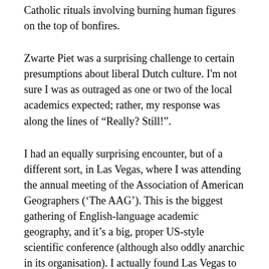Catholic rituals involving burning human figures on the top of bonfires.
Zwarte Piet was a surprising challenge to certain presumptions about liberal Dutch culture. I'm not sure I was as outraged as one or two of the local academics expected; rather, my response was along the lines of “Really? Still!”.
I had an equally surprising encounter, but of a different sort, in Las Vegas, where I was attending the annual meeting of the Association of American Geographers (‘The AAG’). This is the biggest gathering of English-language academic geography, and it’s a big, proper US-style scientific conference (although also oddly anarchic in its organisation). I actually found Las Vegas to be a terrible conference location – no coffee shops to escape to, where one can revise and rehearse the paper you are meant to give later in the week. I did have one great encounter, but it was in the shuttle bus back to the airport on the morning I left to come home. The shuttle turned out to have a ‘limo’-